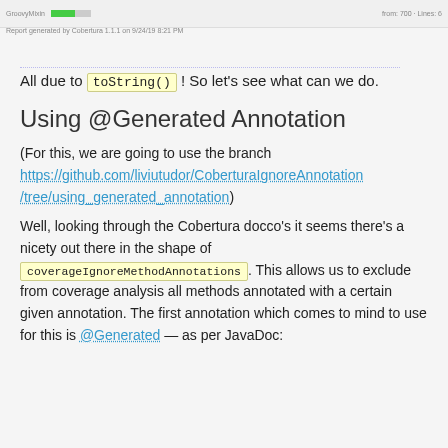[Figure (screenshot): Screenshot strip showing a Cobertura report row with green progress bar and coverage stats. Small text reads 'Report generated by Cobertura 1.1.1 on 9/24/19 8:21 PM']
All due to toString() ! So let's see what can we do.
Using @Generated Annotation
(For this, we are going to use the branch https://github.com/liviutudor/CoberturaIgnoreAnnotation/tree/using_generated_annotation)
Well, looking through the Cobertura docco's it seems there's a nicety out there in the shape of coverageIgnoreMethodAnnotations . This allows us to exclude from coverage analysis all methods annotated with a certain given annotation. The first annotation which comes to mind to use for this is @Generated — as per JavaDoc: